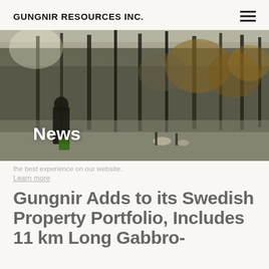GUNGNIR RESOURCES INC.
[Figure (photo): Outdoor forest scene with people in an autumn landscape, with tall pine trees and muted colors. White bold text 'News' overlaid on the lower-left area of the image.]
the best experience on our website.
Learn more
Gungnir Adds to its Swedish Property Portfolio, Includes 11 km Long Gabbro-